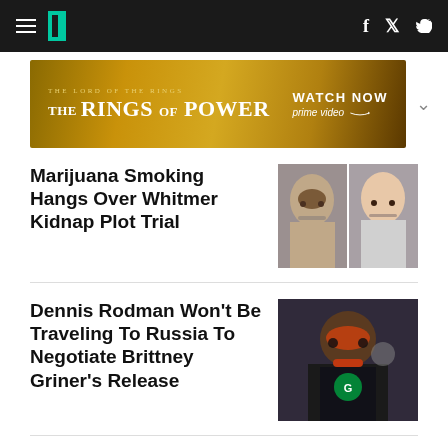HuffPost navigation with hamburger menu, logo, Facebook and Twitter icons
[Figure (photo): Advertisement banner: The Lord of the Rings - The Rings of Power - Watch Now on Prime Video]
Marijuana Smoking Hangs Over Whitmer Kidnap Plot Trial
[Figure (photo): Two mugshot-style photos of men related to the Whitmer kidnap plot trial]
Dennis Rodman Won't Be Traveling To Russia To Negotiate Brittney Griner's Release
[Figure (photo): Photo of Dennis Rodman wearing sunglasses and a black t-shirt]